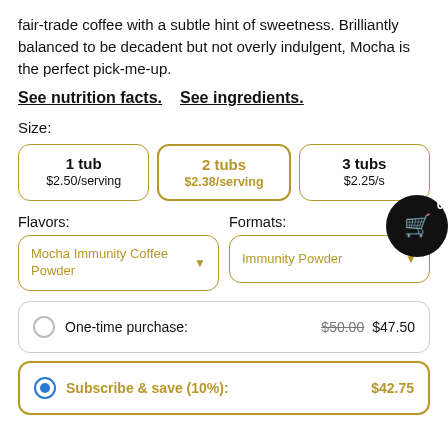fair-trade coffee with a subtle hint of sweetness. Brilliantly balanced to be decadent but not overly indulgent, Mocha is the perfect pick-me-up.
See nutrition facts.   See ingredients.
Size:
1 tub $2.50/serving | 2 tubs $2.38/serving (selected) | 3 tubs $2.25/s...
Flavors:  Formats:
Mocha Immunity Coffee Powder (dropdown)
Immunity Powder (dropdown)
One-time purchase:  $50.00  $47.50
Subscribe & save (10%):  $42.75